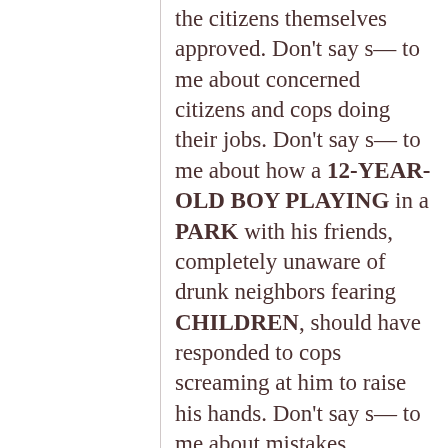the citizens themselves approved. Don't say s— to me about concerned citizens and cops doing their jobs. Don't say s— to me about how a 12-YEAR-OLD BOY PLAYING in a PARK with his friends, completely unaware of drunk neighbors fearing CHILDREN, should have responded to cops screaming at him to raise his hands. Don't say s— to me about mistakes.

Tamir Rice, a 12-year-old shot by police, is dead.

Instead, let's talk about these key words: 12-YEAR-OLD CHILD...